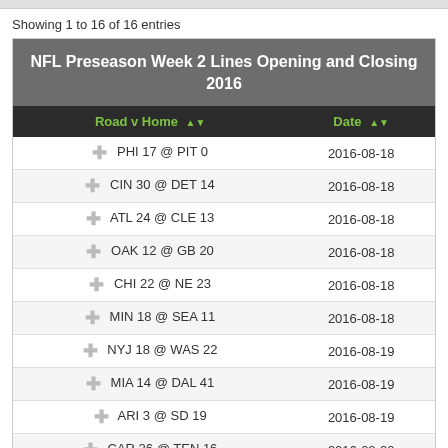Showing 1 to 16 of 16 entries
| Road v Home | Date |
| --- | --- |
| PHI 17 @ PIT 0 | 2016-08-18 |
| CIN 30 @ DET 14 | 2016-08-18 |
| ATL 24 @ CLE 13 | 2016-08-18 |
| OAK 12 @ GB 20 | 2016-08-18 |
| CHI 22 @ NE 23 | 2016-08-18 |
| MIN 18 @ SEA 11 | 2016-08-18 |
| NYJ 18 @ WAS 22 | 2016-08-19 |
| MIA 14 @ DAL 41 | 2016-08-19 |
| ARI 3 @ SD 19 | 2016-08-19 |
| CAR 26 @ TEN 16 | 2016-08-20 |
| NYG 0 @ BUF 21 | 2016-08-20 |